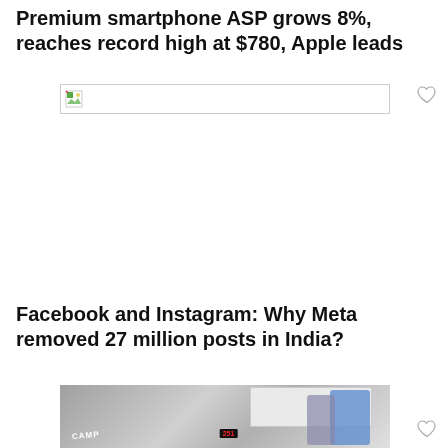Premium smartphone ASP grows 8%, reaches record high at $780, Apple leads
[Figure (photo): Broken/unloaded image placeholder for smartphone ASP article]
Facebook and Instagram: Why Meta removed 27 million posts in India?
[Figure (photo): Photo showing people in what appears to be a classroom or office setting with a whiteboard, digital clock display showing 251, and a CAMP sign visible]